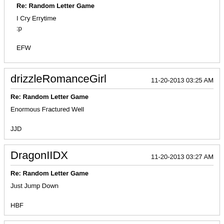Re: Random Letter Game
I Cry Errytime
:p

EFW
drizzleRomanceGirl — 11-20-2013 03:25 AM
Re: Random Letter Game
Enormous Fractured Well

JJD
DragonIIDX — 11-20-2013 03:27 AM
Re: Random Letter Game
Just Jump Down

HBF
Frenegade — 11-20-2013 03:31 AM